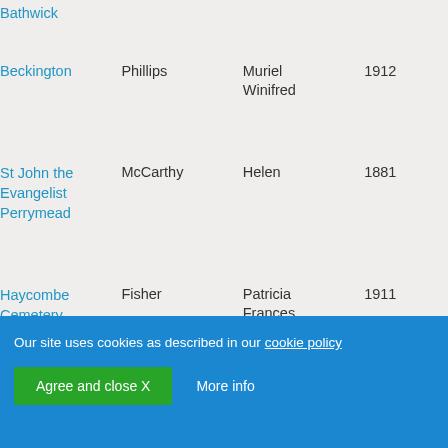| Location | Surname | Forename | Year |
| --- | --- | --- | --- |
| Bathwick |  |  |  |
| Beckington | Phillips | Muriel Winifred | 1912 |
| St John the Evangelist Perrymead | McCarthy | Helen | 1881 |
| Haycombe Cemetery, Bath | Fisher | Patricia Frances | 1911 |
Our site uses cookies as described in our cookie policy
Agree and close X
More info